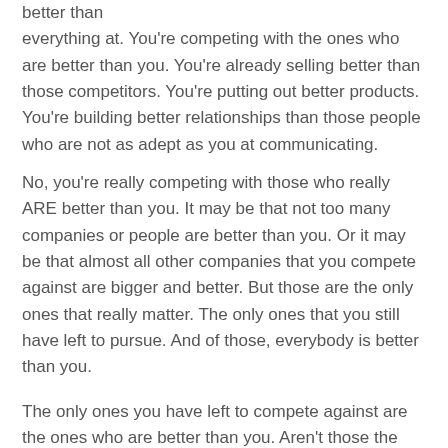better than everything at. You're competing with the ones who are better than you. You're already selling better than those competitors. You're putting out better products. You're building better relationships than those people who are not as adept as you at communicating.
No, you're really competing with those who really ARE better than you. It may be that not too many companies or people are better than you. Or it may be that almost all other companies that you compete against are bigger and better. But those are the only ones that really matter. The only ones that you still have left to pursue. And of those, everybody is better than you.
The only ones you have left to compete against are the ones who are better than you. Aren't those the ones you want to compete against? Of course they are. Those are the ones that bring out the best.